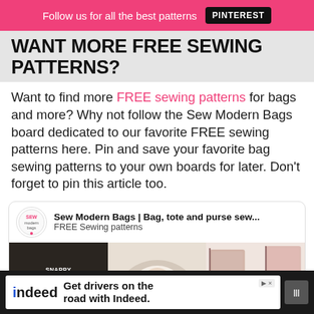Follow us for all the best patterns  PINTEREST
WANT MORE FREE SEWING PATTERNS?
Want to find more FREE sewing patterns for bags and more? Why not follow the Sew Modern Bags board dedicated to our favorite FREE sewing patterns here. Pin and save your favorite bag sewing patterns to your own boards for later. Don't forget to pin this article too.
[Figure (screenshot): Pinterest board embed showing 'Sew Modern Bags | Bag, tote and purse sew...' with FREE Sewing patterns subtitle and three thumbnail images: a composition book cover pattern, a baby photo, and floral tote bags]
[Figure (screenshot): Indeed advertisement: 'Get drivers on the road with Indeed.' with indeed logo and mute button]